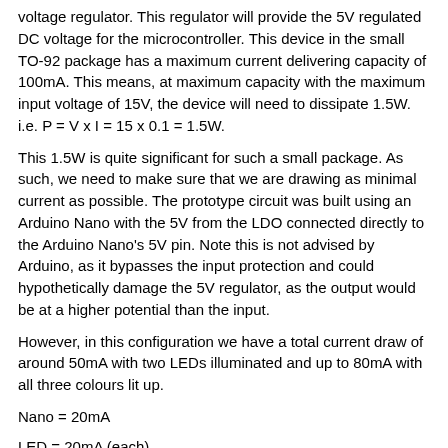voltage regulator. This regulator will provide the 5V regulated DC voltage for the microcontroller. This device in the small TO-92 package has a maximum current delivering capacity of 100mA. This means, at maximum capacity with the maximum input voltage of 15V, the device will need to dissipate 1.5W. i.e. P = V x I = 15 x 0.1 = 1.5W.
This 1.5W is quite significant for such a small package. As such, we need to make sure that we are drawing as minimal current as possible. The prototype circuit was built using an Arduino Nano with the 5V from the LDO connected directly to the Arduino Nano's 5V pin. Note this is not advised by Arduino, as it bypasses the input protection and could hypothetically damage the 5V regulator, as the output would be at a higher potential than the input.
However, in this configuration we have a total current draw of around 50mA with two LEDs illuminated and up to 80mA with all three colours lit up.
Nano = 20mA
LED = 20mA (each)
Voltage divider = 50µA
In this configuration, the 78L05 did not overheat, but there was still...